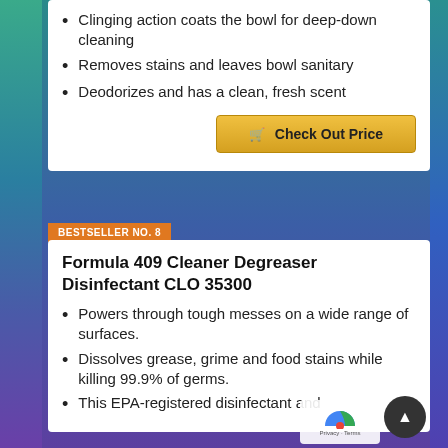Clinging action coats the bowl for deep-down cleaning
Removes stains and leaves bowl sanitary
Deodorizes and has a clean, fresh scent
Check Out Price
BESTSELLER NO. 8
Formula 409 Cleaner Degreaser Disinfectant CLO 35300
Powers through tough messes on a wide range of surfaces.
Dissolves grease, grime and food stains while killing 99.9% of germs.
This EPA-registered disinfectant and